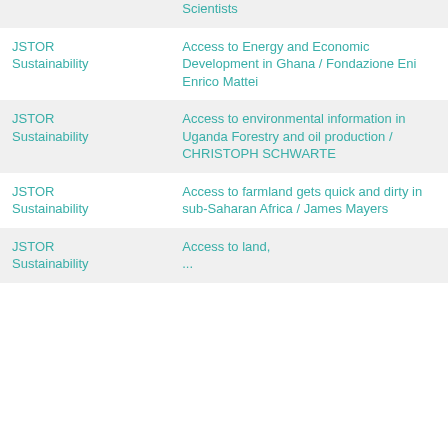| Source | Title / Author |
| --- | --- |
|  | Scientists |
| JSTOR Sustainability | Access to Energy and Economic Development in Ghana / Fondazione Eni Enrico Mattei |
| JSTOR Sustainability | Access to environmental information in Uganda Forestry and oil production / CHRISTOPH SCHWARTE |
| JSTOR Sustainability | Access to farmland gets quick and dirty in sub-Saharan Africa / James Mayers |
| JSTOR Sustainability | Access to land, ... |